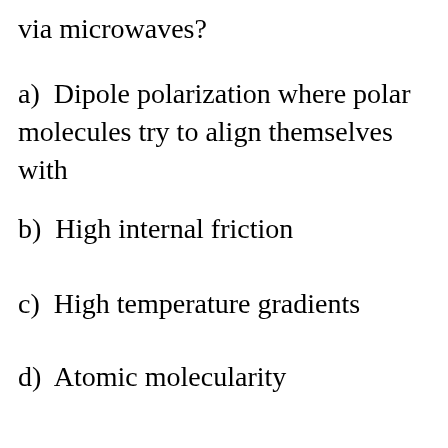via microwaves?
a)  Dipole polarization where polar molecules try to align themselves with
b)  High internal friction
c)  High temperature gradients
d)  Atomic molecularity